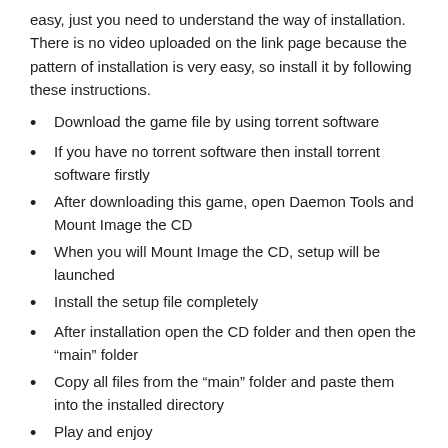easy, just you need to understand the way of installation. There is no video uploaded on the link page because the pattern of installation is very easy, so install it by following these instructions.
Download the game file by using torrent software
If you have no torrent software then install torrent software firstly
After downloading this game, open Daemon Tools and Mount Image the CD
When you will Mount Image the CD, setup will be launched
Install the setup file completely
After installation open the CD folder and then open the “main” folder
Copy all files from the “main” folder and paste them into the installed directory
Play and enjoy
That’s the easy way to download this game.
This is the best way to install this game. I forget to give an earlier 100 % working installation process. You can get it by the following this